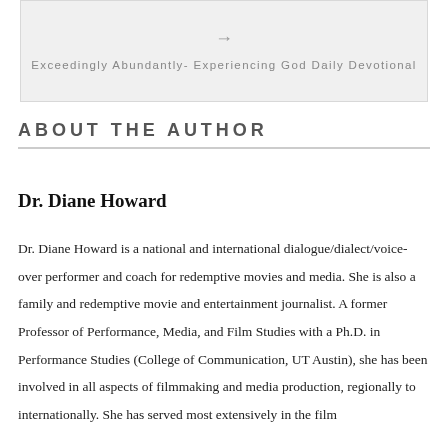[Figure (other): Navigation box with right arrow and link title: Exceedingly Abundantly- Experiencing God Daily Devotional]
ABOUT THE AUTHOR
Dr. Diane Howard
Dr. Diane Howard is a national and international dialogue/dialect/voice-over performer and coach for redemptive movies and media. She is also a family and redemptive movie and entertainment journalist. A former Professor of Performance, Media, and Film Studies with a Ph.D. in Performance Studies (College of Communication, UT Austin), she has been involved in all aspects of filmmaking and media production, regionally to internationally. She has served most extensively in the film